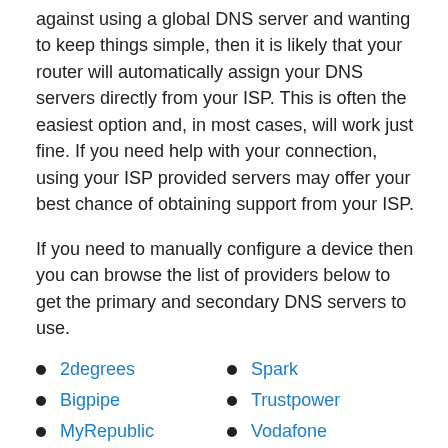against using a global DNS server and wanting to keep things simple, then it is likely that your router will automatically assign your DNS servers directly from your ISP. This is often the easiest option and, in most cases, will work just fine. If you need help with your connection, using your ISP provided servers may offer your best chance of obtaining support from your ISP.
If you need to manually configure a device then you can browse the list of providers below to get the primary and secondary DNS servers to use.
2degrees
Bigpipe
MyRepublic
Orcon
Slingshot
Spark
Trustpower
Vodafone
Xtra